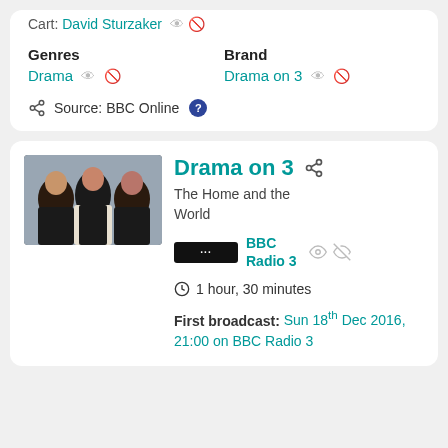Cart: David Sturzaker
Genres: Drama | Brand: Drama on 3
Source: BBC Online
[Figure (photo): Three people (two men and a woman) posed against a grey background, wearing dark clothing]
Drama on 3
The Home and the World
BBC Radio 3
1 hour, 30 minutes
First broadcast: Sun 18th Dec 2016, 21:00 on BBC Radio 3